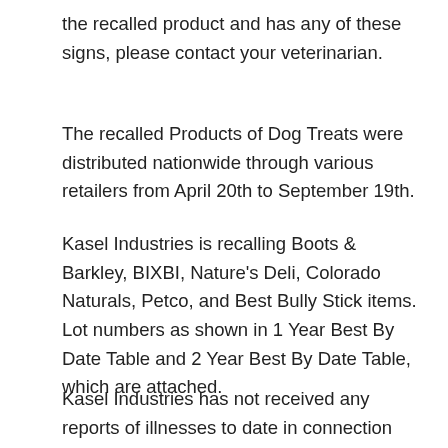the recalled product and has any of these signs, please contact your veterinarian.
The recalled Products of Dog Treats were distributed nationwide through various retailers from April 20th to September 19th.
Kasel Industries is recalling Boots & Barkley, BIXBI, Nature's Deli, Colorado Naturals, Petco, and Best Bully Stick items. Lot numbers as shown in 1 Year Best By Date Table and 2 Year Best By Date Table, which are attached.
Kasel Industries has not received any reports of illnesses to date in connection with these products.